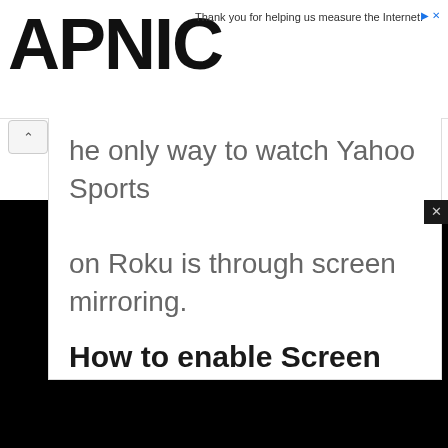[Figure (logo): APNIC logo in bold black letters]
Thank you for helping us measure the Internet.
The only way to watch Yahoo Sports on Roku is through screen mirroring.
How to enable Screen
[Figure (screenshot): Video player showing black background with 'Source not found' error message and red warning icon]